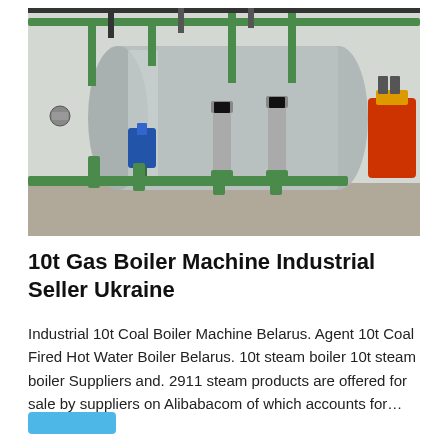[Figure (photo): Industrial gas boiler machine with green pipes, blue pumps, stainless steel horizontal tank, and various fittings and valves installed in a facility.]
10t Gas Boiler Machine Industrial Seller Ukraine
Industrial 10t Coal Boiler Machine Belarus. Agent 10t Coal Fired Hot Water Boiler Belarus. 10t steam boiler 10t steam boiler Suppliers and. 2911 steam products are offered for sale by suppliers on Alibabacom of which accounts for…